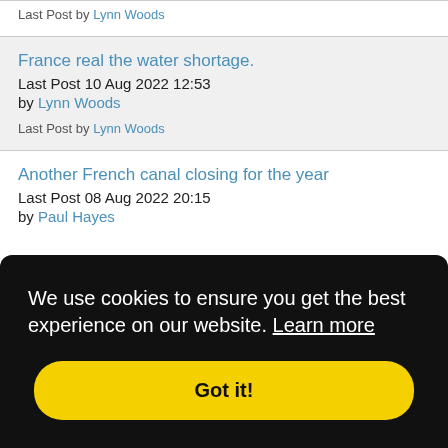Last Post by Lynn Woods
France real the water shortage.
Last Post 10 Aug 2022 12:53
by Lynn Woods
Last Post by Lynn Woods
Another French canal closing for the year
Last Post 08 Aug 2022 20:15
by Paul Hayes
We use cookies to ensure you get the best experience on our website. Learn more
Got it!